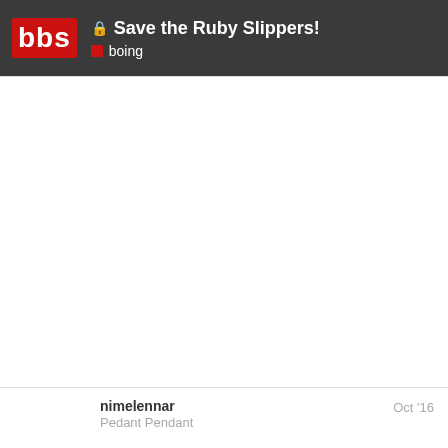Save the Ruby Slippers! boing
nimelennar
Pedant Pendant
Oct '16
Wouldn't it be much, much cheaper just to make a perfect replica of the pair of slippers?
The movie's costume designer altered commercially manufactured shoes by dying them red and attaching a red